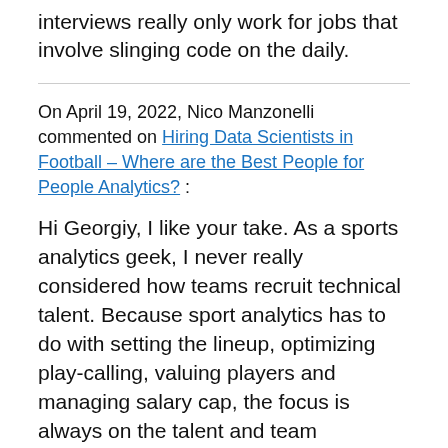interviews really only work for jobs that involve slinging code on the daily.
On April 19, 2022, Nico Manzonelli commented on Hiring Data Scientists in Football – Where are the Best People for People Analytics? :
Hi Georgiy, I like your take. As a sports analytics geek, I never really considered how teams recruit technical talent. Because sport analytics has to do with setting the lineup, optimizing play-calling, valuing players and managing salary cap, the focus is always on the talent and team performance which means these analytics teams really never get any love. I'm actually not even sure if the GM on most teams hires data scientists, or sets the vision for the analytics team. It's likely that